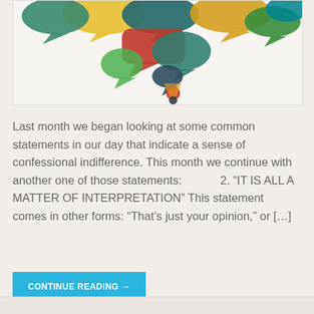[Figure (illustration): Colorful speech bubble shapes arranged together forming a decorative illustration with various colors including red, yellow, green, teal, and blue bubbles on a light background.]
Last month we began looking at some common statements in our day that indicate a sense of confessional indifference. This month we continue with another one of those statements:          2. “IT IS ALL A MATTER OF INTERPRETATION” This statement comes in other forms: “That’s just your opinion,” or […]
CONTINUE READING →